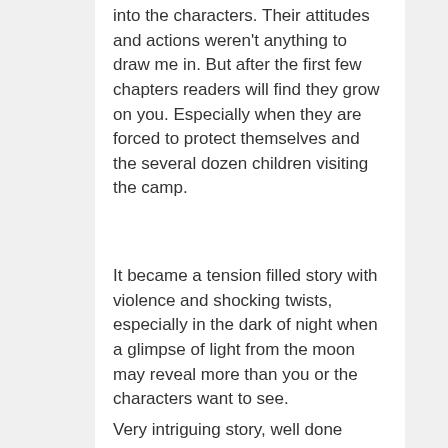into the characters. Their attitudes and actions weren't anything to draw me in. But after the first few chapters readers will find they grow on you. Especially when they are forced to protect themselves and the several dozen children visiting the camp.
It became a tension filled story with violence and shocking twists, especially in the dark of night when a glimpse of light from the moon may reveal more than you or the characters want to see.
Very intriguing story, well done